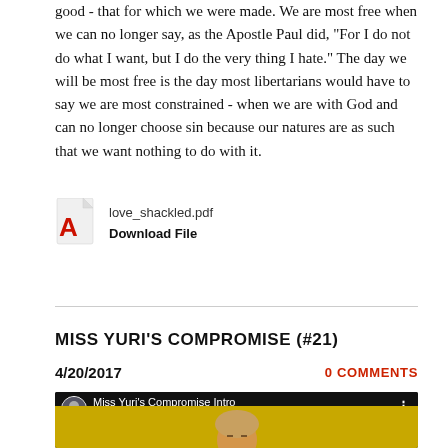good - that for which we were made. We are most free when we can no longer say, as the Apostle Paul did, “For I do not do what I want, but I do the very thing I hate.” The day we will be most free is the day most libertarians would have to say we are most constrained - when we are with God and can no longer choose sin because our natures are as such that we want nothing to do with it.
[Figure (illustration): PDF file icon (Adobe Acrobat red icon with white document) with filename 'love_shackled.pdf' and bold 'Download File' link below]
MISS YURI'S COMPROMISE (#21)
4/20/2017
0 COMMENTS
[Figure (screenshot): YouTube video thumbnail showing 'Miss Yuri's Compromise Intro' with a person's face against a golden/yellow background, with avatar icon and three-dot menu in the header bar]